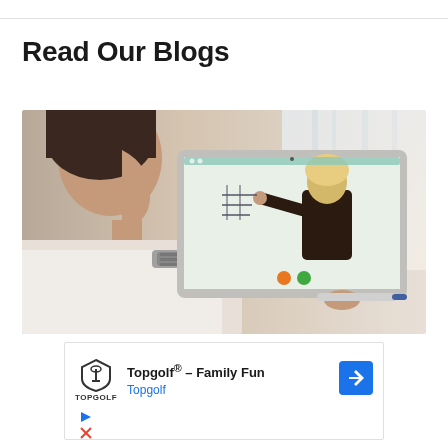Read Our Blogs
[Figure (photo): A person viewed from behind looking at a laptop screen showing an online class with a teacher writing on a whiteboard. The person is holding a stylus and appears to be in a home setting.]
[Figure (other): Advertisement: Topgolf® - Family Fun. Topgolf brand logo and navigation arrow icon shown.]